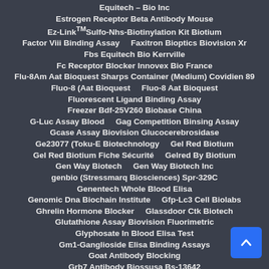Equitech – Bio Inc
Estrogen Receptor Beta Antibody Mouse
Ez-Link™Sulfo-Nhs-Biotinylation Kit Biotium
Factor Viii Binding Assay    Faxitron Bioptics Biovision Xr
Fbs Equitech Bio Kerrville
Fc Receptor Blocker Innovex Bio France
Flu-8Am Aat Bioquest Sharps Container (Medium) Covidien 89
Fluo-8 (Aat Bioquest    Fluo-8 Aat Bioquest
Fluorescent Ligand Binding Assay
Freezer Bdf-25V260 Biobase China
G-Luc Assay Blood    Gag Competition Binsing Assay
Gcase Assay Biovision Glucocerebrosidase
Ge23077 (Toku-E Biotechnology    Gel Red Biotium
Gel Red Biotium Fiche Sécurité    Gelred By Biotium
Gen Way Biotech    Gen Way Biotech Inc
genbio (Stressmarq Biosciences) Spr-329C
Genentech Whole Blood Elisa
Genomic Dna Biochain Institute    Gfp-Lc3 Cell Biolabs
Ghrelin Hormone Blocker    Glassdoor Ctk Biotech
Glutathione Assay Biovision Fluorimetric
Glyphosate In Blood Elisa Test
Gm1-Ganglioside Elisa Binding Assays
Goat Antibody Blocking
Grb7 Antibody Biossusa Bs-13642
Green Algae Bioassay Lab    Green Serum Blood